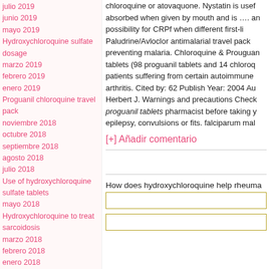julio 2019
junio 2019
mayo 2019
Hydroxychloroquine sulfate dosage
marzo 2019
febrero 2019
enero 2019
Proguanil chloroquine travel pack
noviembre 2018
octubre 2018
septiembre 2018
agosto 2018
julio 2018
Use of hydroxychloroquine sulfate tablets
mayo 2018
Hydroxychloroquine to treat sarcoidosis
marzo 2018
febrero 2018
enero 2018
diciembre 2017
noviembre 2017
octubre 2017
septiembre 2017
chloroquine or atovaquone. Nystatin is useful absorbed when given by mouth and is .... an possibility for CRPf when different first-li Paludrine/Avloclor antimalarial travel pack preventing malaria. Chloroquine & Prouguan tablets (98 proguanil tablets and 14 chloroq patients suffering from certain autoimmune arthritis. Cited by: 62 Publish Year: 2004 Au Herbert J. Warnings and precautions Check proguanil tablets pharmacist before taking y epilepsy, convulsions or fits. falciparum mal
[+] Añadir comentario
How does hydroxychloroquine help rheuma